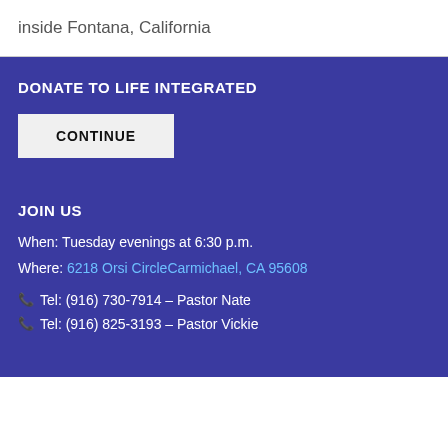inside Fontana, California
DONATE TO LIFE INTEGRATED
CONTINUE
JOIN US
When: Tuesday evenings at 6:30 p.m.
Where: 6218 Orsi CircleCarmichael, CA 95608
Tel: (916) 730-7914 – Pastor Nate
Tel: (916) 825-3193 – Pastor Vickie